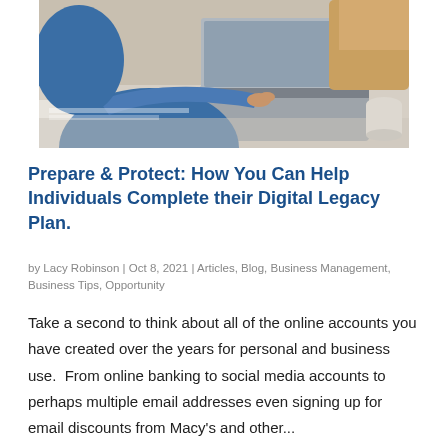[Figure (photo): Two people working at a laptop computer on a desk, viewed from above and slightly to the side. One person is wearing a blue shirt and pointing at the laptop screen.]
Prepare & Protect: How You Can Help Individuals Complete their Digital Legacy Plan.
by Lacy Robinson | Oct 8, 2021 | Articles, Blog, Business Management, Business Tips, Opportunity
Take a second to think about all of the online accounts you have created over the years for personal and business use.  From online banking to social media accounts to perhaps multiple email addresses even signing up for email discounts from Macy's and other...